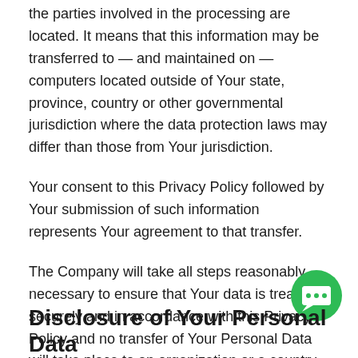the parties involved in the processing are located. It means that this information may be transferred to — and maintained on — computers located outside of Your state, province, country or other governmental jurisdiction where the data protection laws may differ than those from Your jurisdiction.
Your consent to this Privacy Policy followed by Your submission of such information represents Your agreement to that transfer.
The Company will take all steps reasonably necessary to ensure that Your data is treated securely and in accordance with this Privacy Policy and no transfer of Your Personal Data will take place to an organization or a country unless there are adequate controls in place including the security of Your data and other personal information.
Disclosure of Your Personal Data